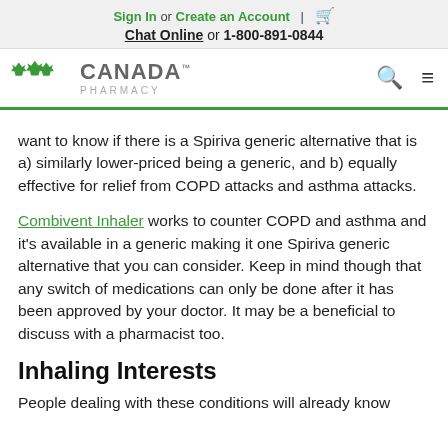Sign In or Create an Account | [cart] Chat Online or 1-800-891-0844
[Figure (logo): Canada Pharmacy logo with maple leaf icons]
want to know if there is a Spiriva generic alternative that is a) similarly lower-priced being a generic, and b) equally effective for relief from COPD attacks and asthma attacks.
Combivent Inhaler works to counter COPD and asthma and it's available in a generic making it one Spiriva generic alternative that you can consider. Keep in mind though that any switch of medications can only be done after it has been approved by your doctor. It may be a beneficial to discuss with a pharmacist too.
Inhaling Interests
People dealing with these conditions will already know